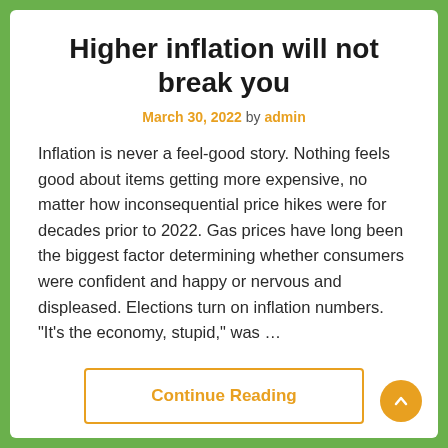Higher inflation will not break you
March 30, 2022 by admin
Inflation is never a feel-good story. Nothing feels good about items getting more expensive, no matter how inconsequential price hikes were for decades prior to 2022. Gas prices have long been the biggest factor determining whether consumers were confident and happy or nervous and displeased. Elections turn on inflation numbers. “It’s the economy, stupid,” was …
Continue Reading